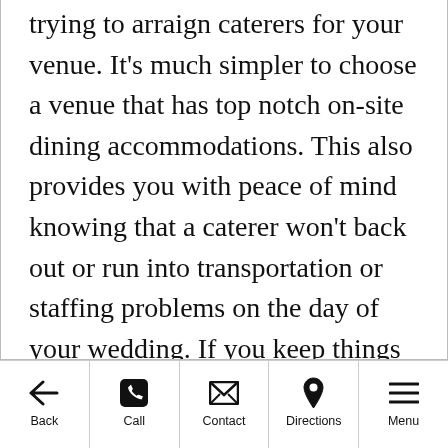trying to arraign caterers for your venue. It’s much simpler to choose a venue that has top notch on-site dining accommodations. This also provides you with peace of mind knowing that a caterer won’t back out or run into transportation or staffing problems on the day of your wedding. If you keep things like decor, dining, lighting and music in-house and with one company, it’s so much easier to
Back | Call | Contact | Directions | Menu